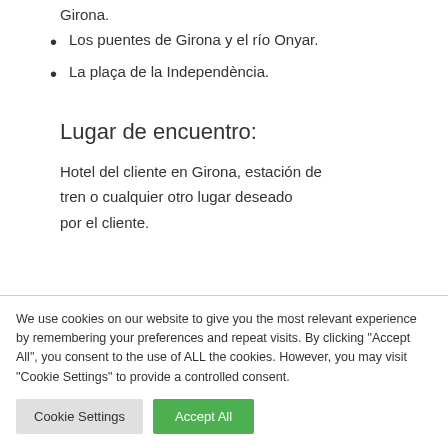Girona.
Los puentes de Girona y el río Onyar.
La plaça de la Independència.
Lugar de encuentro:
Hotel del cliente en Girona, estación de tren o cualquier otro lugar deseado por el cliente.
We use cookies on our website to give you the most relevant experience by remembering your preferences and repeat visits. By clicking "Accept All", you consent to the use of ALL the cookies. However, you may visit "Cookie Settings" to provide a controlled consent.